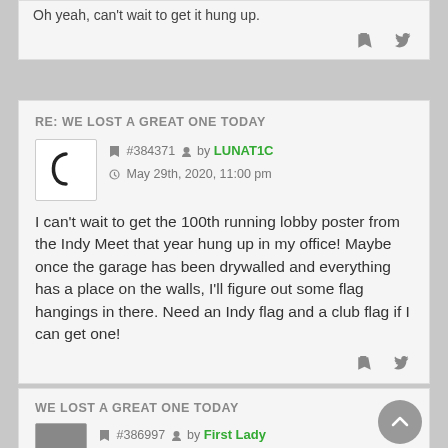Oh yeah, can't wait to get it hung up.
RE: WE LOST A GREAT ONE TODAY
#384371 by LUNAT1C  May 29th, 2020, 11:00 pm
I can't wait to get the 100th running lobby poster from the Indy Meet that year hung up in my office! Maybe once the garage has been drywalled and everything has a place on the walls, I'll figure out some flag hangings in there. Need an Indy flag and a club flag if I can get one!
WE LOST A GREAT ONE TODAY
#386997 by First Lady  January 9th, 2021, 12:22 pm